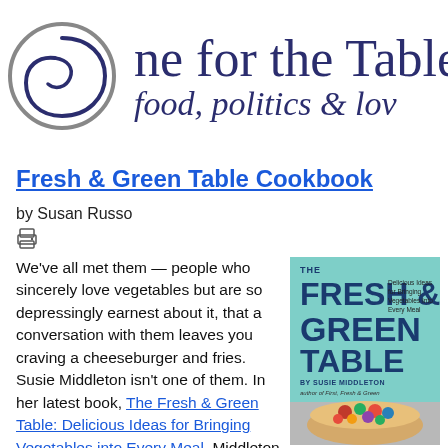[Figure (logo): One for the Table logo with circular spiral graphic and text 'ne for the Table' and subtitle 'food, politics & lov']
Fresh & Green Table Cookbook
by Susan Russo
[Figure (illustration): Small printer icon]
We've all met them — people who sincerely love vegetables but are so depressingly earnest about it, that a conversation with them leaves you craving a cheeseburger and fries. Susie Middleton isn't one of them. In her latest book, The Fresh & Green Table: Delicious Ideas for Bringing Vegetables into Every Meal, Middleton moves vegetables to the center of the table and to the center of
[Figure (illustration): Book cover for 'The Fresh & Green Table' by Susie Middleton showing teal background with large title text and a bowl of colorful vegetables]